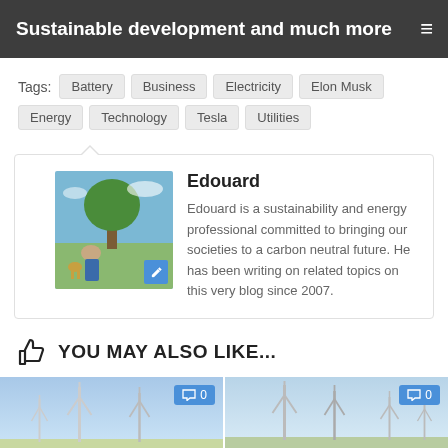Sustainable development and much more
Tags: Battery  Business  Electricity  Elon Musk  Energy  Technology  Tesla  Utilities
Edouard
Edouard is a sustainability and energy professional committed to bringing our societies to a carbon neutral future. He has been writing on related topics on this very blog since 2007.
YOU MAY ALSO LIKE...
[Figure (photo): Wind turbines against blue sky, left card with comment badge showing 0]
[Figure (photo): Wind turbines against blue sky, right card with comment badge showing 0]